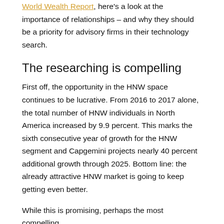World Wealth Report, here's a look at the importance of relationships – and why they should be a priority for advisory firms in their technology search.
The researching is compelling
First off, the opportunity in the HNW space continues to be lucrative. From 2016 to 2017 alone, the total number of HNW individuals in North America increased by 9.9 percent. This marks the sixth consecutive year of growth for the HNW segment and Capgemini projects nearly 40 percent additional growth through 2025. Bottom line: the already attractive HNW market is going to keep getting even better.
While this is promising, perhaps the most compelling